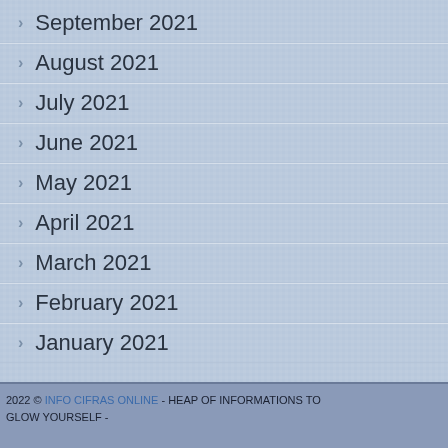September 2021
August 2021
July 2021
June 2021
May 2021
April 2021
March 2021
February 2021
January 2021
2022 © INFO CIFRAS ONLINE  -  HEAP OF INFORMATIONS TO GLOW YOURSELF  -